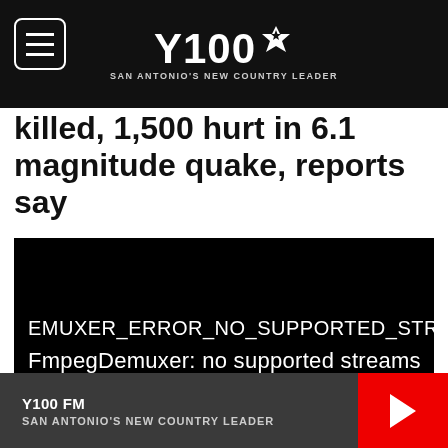Y100 San Antonio's NEW COUNTRY LEADER
killed, 1,500 hurt in 6.1 magnitude quake, reports say
[Figure (screenshot): Black video player showing error message: DEMUXER_ERROR_NO_SUPPORTED_STREAM and FmpegDemuxer: no supported streams]
Y100 FM SAN ANTONIO'S NEW COUNTRY LEADER